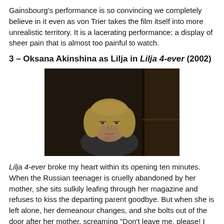Gainsbourg's performance is so convincing we completely believe in it even as von Trier takes the film itself into more unrealistic territory. It is a lacerating performance; a display of sheer pain that is almost too painful to watch.
3 – Oksana Akinshina as Lilja in Lilja 4-ever (2002)
[Figure (photo): A young blonde woman with a sad, downcast expression, photographed indoors in a dark setting, appearing to be a still from the film Lilja 4-ever.]
Lilja 4-ever broke my heart within its opening ten minutes. When the Russian teenager is cruelly abandoned by her mother, she sits sulkily leafing through her magazine and refuses to kiss the departing parent goodbye. But when she is left alone, her demeanour changes, and she bolts out of the door after her mother, screaming "Don't leave me, please! I won't make it!", but she is just left collapsed in the mud as the car speeds away. In those few seconds between